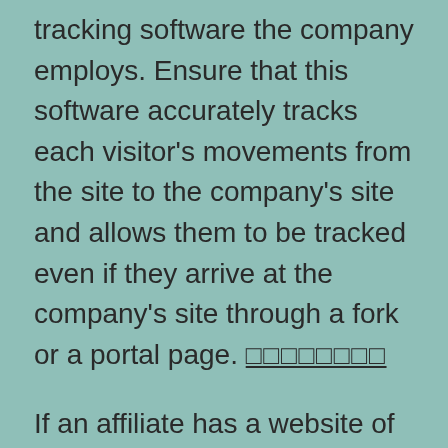tracking software the company employs. Ensure that this software accurately tracks each visitor's movements from the site to the company's site and allows them to be tracked even if they arrive at the company's site through a fork or a portal page. ????????
If an affiliate has a website of their own, they will need to make sure that their website is Search Engine Optimized based on the individual pages and content that they have on their site. Understand that Search Engine Optimization is not an exact science, but rather a numbers game. As a general rule, if your site